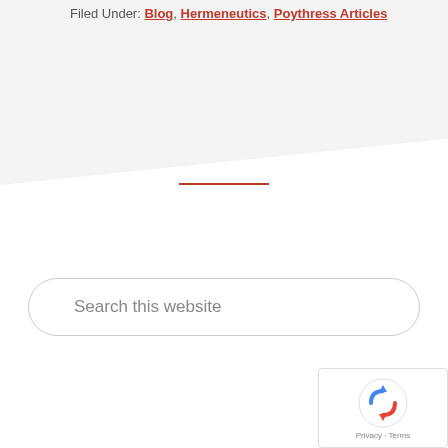Filed Under: Blog, Hermeneutics, Poythress Articles
[Figure (other): Red horizontal divider line separating content sections]
Search this website
[Figure (other): reCAPTCHA widget with rotating arrows logo and Privacy - Terms text]